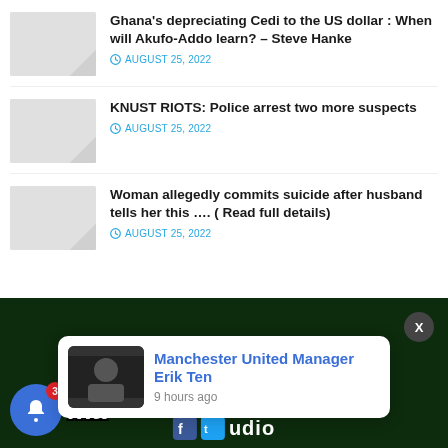Ghana's depreciating Cedi to the US dollar : When will Akufo-Addo learn? – Steve Hanke
AUGUST 25, 2022
KNUST RIOTS: Police arrest two more suspects
AUGUST 25, 2022
Woman allegedly commits suicide after husband tells her this …. ( Read full details)
AUGUST 25, 2022
Manchester United Manager Erik Ten
9 hours ago